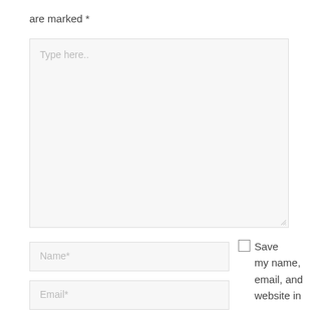are marked *
[Figure (screenshot): A textarea input field with placeholder text 'Type here..' and a resize handle in the bottom-right corner, set against a light gray background with a thin border.]
[Figure (screenshot): A text input field labeled 'Name*' with light gray background and thin border.]
[Figure (screenshot): A text input field labeled 'Email*' with light gray background and thin border.]
Save my name, email, and website in